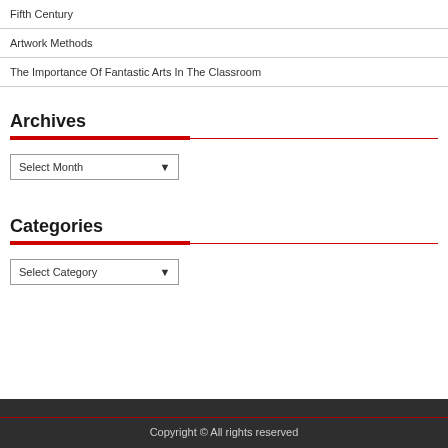Fifth Century
Artwork Methods
The Importance Of Fantastic Arts In The Classroom
Archives
Select Month
Categories
Select Category
Copyright © All rights reserved